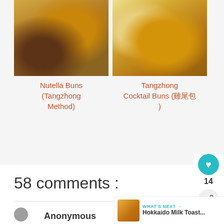[Figure (photo): Photo of Nutella Buns - baked pastries in foil cups on a wooden board]
[Figure (photo): Photo of Tangzhong Cocktail Buns - golden baked buns on a wooden board]
Nutella Buns (Tangzhong Method)
Tangzhong Cocktail Buns (cocktail buns emoji)
58 comments :
Anonymous